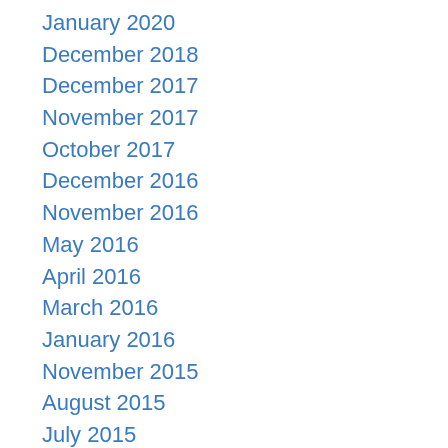January 2020
December 2018
December 2017
November 2017
October 2017
December 2016
November 2016
May 2016
April 2016
March 2016
January 2016
November 2015
August 2015
July 2015
June 2015